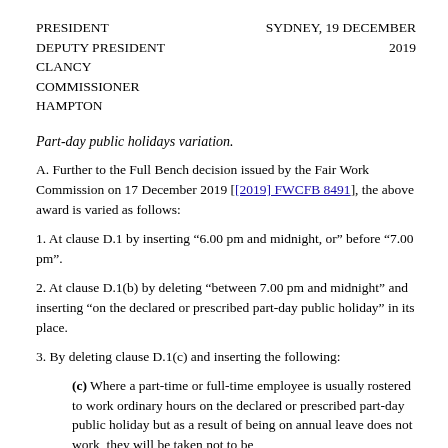PRESIDENT
DEPUTY PRESIDENT
CLANCY
COMMISSIONER HAMPTON
SYDNEY, 19 DECEMBER 2019
Part-day public holidays variation.
A. Further to the Full Bench decision issued by the Fair Work Commission on 17 December 2019 [[2019] FWCFB 8491], the above award is varied as follows:
1. At clause D.1 by inserting “6.00 pm and midnight, or” before “7.00 pm”.
2. At clause D.1(b) by deleting “between 7.00 pm and midnight” and inserting “on the declared or prescribed part-day public holiday” in its place.
3. By deleting clause D.1(c) and inserting the following:
(c) Where a part-time or full-time employee is usually rostered to work ordinary hours on the declared or prescribed part-day public holiday but as a result of being on annual leave does not work, they will be taken not to be